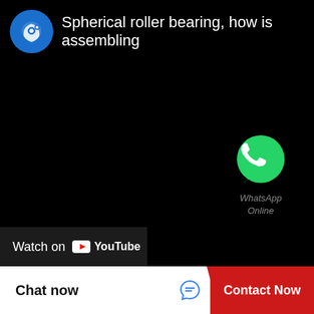[Figure (screenshot): YouTube video thumbnail showing a dark/black video frame for 'Spherical roller bearing, how is assembling'. Includes a channel icon (brain with gears, blue circle), the video title in white text, a WhatsApp Online button with green WhatsApp icon, and a 'Watch on YouTube' bar at the bottom left.]
Chat now
Contact Now